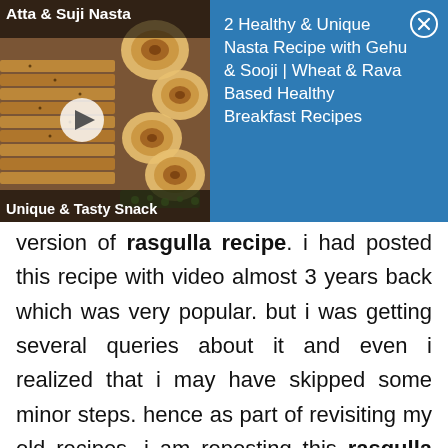[Figure (screenshot): Video ad banner showing food snack (Atta & Suji Nasta / Unique & Tasty Snack) with a play button on the left thumbnail, and blue panel on the right with title '2 Healthy & Unique Nasta Recipe with Gehu & Sooji | Wheat & Rava Based Healthy Breakfast Recipes' and a close button.]
version of rasgulla recipe. i had posted this recipe with video almost 3 years back which was very popular. but i was getting several queries about it and even i realized that i may have skipped some minor steps. hence as part of revisiting my old recipes, i am reposting this rasgulla recipe. the simple and major trick i have introduced in this recipe is the use of ice-cold water. basically once the chenna balls are boiled in hot sugar water, it is immediately transferred to cold water. this